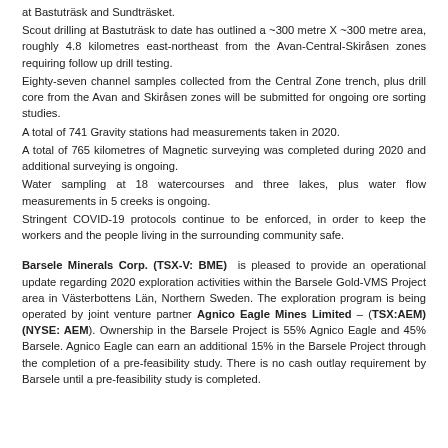at Bastuträsk and Sundträsket.
Scout drilling at Bastuträsk to date has outlined a ~300 metre X ~300 metre area, roughly 4.8 kilometres east-northeast from the Avan-Central-Skiråsen zones requiring follow up drill testing.
Eighty-seven channel samples collected from the Central Zone trench, plus drill core from the Avan and Skiråsen zones will be submitted for ongoing ore sorting studies.
A total of 741 Gravity stations had measurements taken in 2020.
A total of 765 kilometres of Magnetic surveying was completed during 2020 and additional surveying is ongoing.
Water sampling at 18 watercourses and three lakes, plus water flow measurements in 5 creeks is ongoing.
Stringent COVID-19 protocols continue to be enforced, in order to keep the workers and the people living in the surrounding community safe.
Barsele Minerals Corp. (TSX-V: BME) is pleased to provide an operational update regarding 2020 exploration activities within the Barsele Gold-VMS Project area in Västerbottens Län, Northern Sweden. The exploration program is being operated by joint venture partner Agnico Eagle Mines Limited – (TSX:AEM) (NYSE: AEM). Ownership in the Barsele Project is 55% Agnico Eagle and 45% Barsele. Agnico Eagle can earn an additional 15% in the Barsele Project through the completion of a pre-feasibility study. There is no cash outlay requirement by Barsele until a pre-feasibility study is completed.